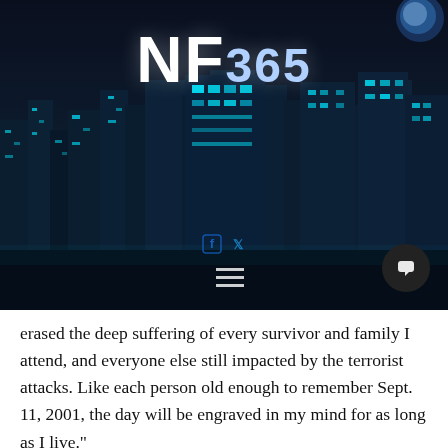[Figure (photo): Dark nighttime cityscape with illuminated skyscrapers in teal/blue tones. The NF365 logo (white bold text 'NF' with blue '365') appears at the top center. Social media icons (Facebook, Twitter) and a hamburger menu icon are visible. A dark chat button appears at bottom right.]
erased the deep suffering of every survivor and family I attend, and everyone else still impacted by the terrorist attacks. Like each person old enough to remember Sept. 11, 2001, the day will be engraved in my mind for as long as I live."
Dr. Ahmed, who immigrated to the U.S. from England in 1996 and became an American citizen, concluded with, "I thank God every day that I was able to immigrate to the United